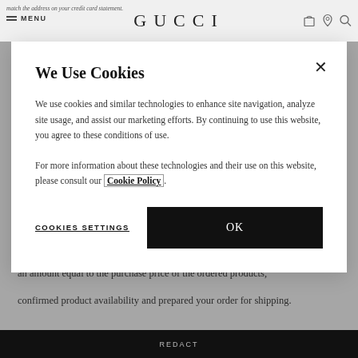match the address on your credit card statement. ☰ MENU   GUCCI
an amount equal to the purchase price of the ordered products, confirmed product availability and prepared your order for shipping.
We Use Cookies
We use cookies and similar technologies to enhance site navigation, analyze site usage, and assist our marketing efforts. By continuing to use this website, you agree to these conditions of use.
For more information about these technologies and their use on this website, please consult our Cookie Policy.
COOKIES SETTINGS
OK
Redact